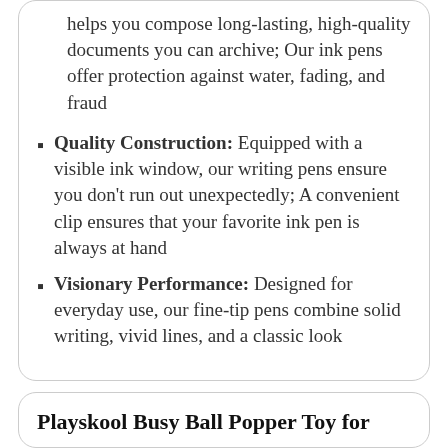helps you compose long-lasting, high-quality documents you can archive; Our ink pens offer protection against water, fading, and fraud
Quality Construction: Equipped with a visible ink window, our writing pens ensure you don't run out unexpectedly; A convenient clip ensures that your favorite ink pen is always at hand
Visionary Performance: Designed for everyday use, our fine-tip pens combine solid writing, vivid lines, and a classic look
Playskool Busy Ball Popper Toy for